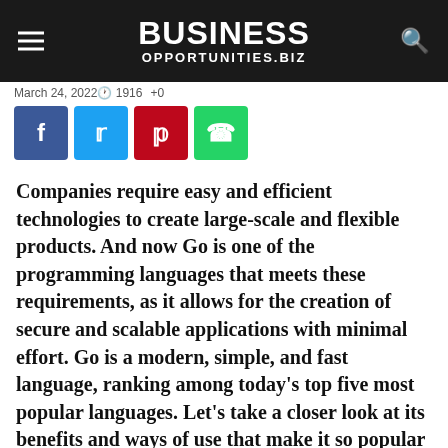BUSINESS OPPORTUNITIES.BIZ
March 24, 2022   🕐 1916   +0
[Figure (infographic): Social share buttons: Facebook (blue), Twitter (cyan), Pinterest (red), WhatsApp (green)]
Companies require easy and efficient technologies to create large-scale and flexible products. And now Go is one of the programming languages that meets these requirements, as it allows for the creation of secure and scalable applications with minimal effort. Go is a modern, simple, and fast language, ranking among today's top five most popular languages. Let's take a closer look at its benefits and ways of use that make it so popular on the market.
RELATED ARTICLE: TECHNOLOGY AND ITS